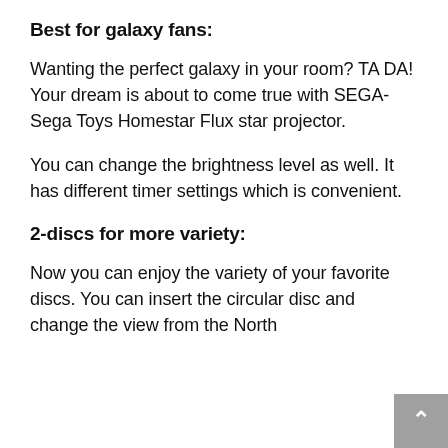Best for galaxy fans:
Wanting the perfect galaxy in your room? TA DA! Your dream is about to come true with SEGA-Sega Toys Homestar Flux star projector.
You can change the brightness level as well. It has different timer settings which is convenient.
2-discs for more variety:
Now you can enjoy the variety of your favorite discs. You can insert the circular disc and change the view from the North